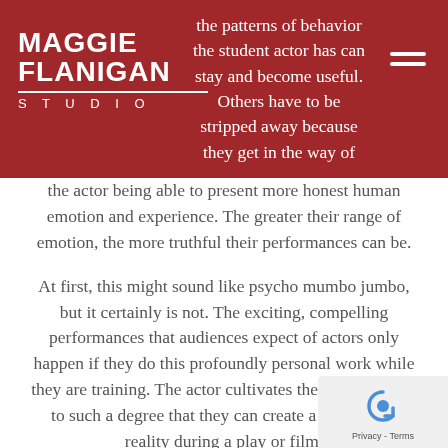Maggie Flanigan Studio
the patterns of behavior the student actor has can stay and become useful. Others have to be stripped away because they get in the way of the actor being able to present more honest human emotion and experience. The greater their range of emotion, the more truthful their performances can be.
At first, this might sound like psycho mumbo jumbo, but it certainly is not. The exciting, compelling performances that audiences expect of actors only happen if they do this profoundly personal work while they are training. The actor cultivates their imagination to such a degree that they can create a whole new reality during a play or film.
The two techniques taught most often are the Method and Meisner Technique. It is realistic to assume that if you study with an experienced teacher, you will be immersing yourself in some aspect of Meisner or Method acting. Educate yourself about the techniques and decide between